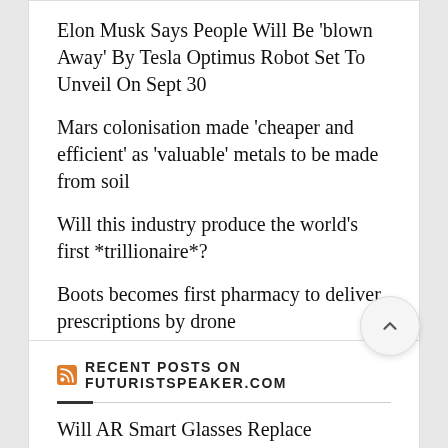Elon Musk Says People Will Be 'blown Away' By Tesla Optimus Robot Set To Unveil On Sept 30
Mars colonisation made 'cheaper and efficient' as 'valuable' metals to be made from soil
Will this industry produce the world's first *trillionaire*?
Boots becomes first pharmacy to deliver prescriptions by drone
Should self-driving cars come with black box recorders?
RECENT POSTS ON FUTURISTSPEAKER.COM
Will AR Smart Glasses Replace Smartphones and Become our Personal Buddy Bots?